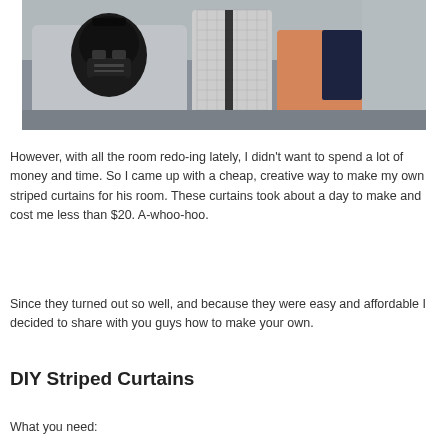[Figure (photo): Photo of a bedroom with a Darth Vader pillow on a gray bed, with black and white patterned and orange accent pillows, against a light blue-gray wall.]
However, with all the room redo-ing lately, I didn't want to spend a lot of money and time. So I came up with a cheap, creative way to make my own striped curtains for his room. These curtains took about a day to make and cost me less than $20. A-whoo-hoo.
Since they turned out so well, and because they were easy and affordable I decided to share with you guys how to make your own.
DIY Striped Curtains
What you need: